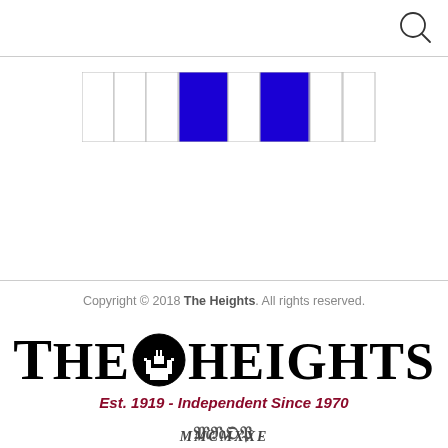[Figure (other): Search icon (magnifying glass) in top right corner]
[Figure (other): Navigation grid with 9 cells, cells 4 and 6 filled in blue]
Copyright © 2018 The Heights. All rights reserved.
[Figure (logo): The Heights newspaper logo with circular emblem showing a building silhouette, large serif text reading THE HEIGHTS, and tagline Est. 1919 - Independent Since 1970 in dark red]
[Figure (logo): Small decorative ornamental logo at bottom center]